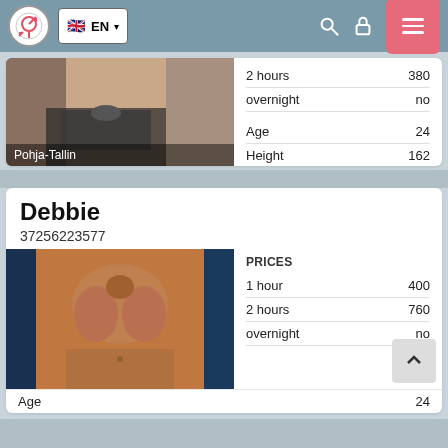EN
|  |  |
| --- | --- |
| 2 hours | 380 |
| overnight | no |
| Age | 24 |
| Height | 162 |
| Weight | 58 |
| Breast | 2 |
Pohja-Tallin
Debbie
37256223577
| PRICES |  |
| --- | --- |
| 1 hour | 400 |
| 2 hours | 760 |
| overnight | no |
Age    24